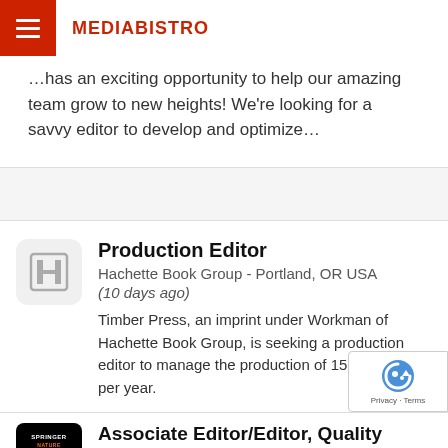MEDIABISTRO
...has an exciting opportunity to help our amazing team grow to new heights! We're looking for a savvy editor to develop and optimize...
Production Editor
Hachette Book Group - Portland, OR USA
(10 days ago)
Timber Press, an imprint under Workman of Hachette Book Group, is seeking a production editor to manage the production of 15 to 20 titles per year.
Associate Editor/Editor, Quality